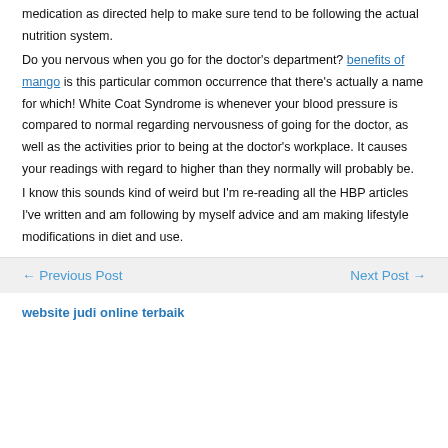medication as directed help to make sure tend to be following the actual nutrition system.
Do you nervous when you go for the doctor's department? benefits of mango is this particular common occurrence that there's actually a name for which! White Coat Syndrome is whenever your blood pressure is compared to normal regarding nervousness of going for the doctor, as well as the activities prior to being at the doctor's workplace. It causes your readings with regard to higher than they normally will probably be.
I know this sounds kind of weird but I'm re-reading all the HBP articles I've written and am following by myself advice and am making lifestyle modifications in diet and use.
← Previous Post    Next Post →
website judi online terbaik